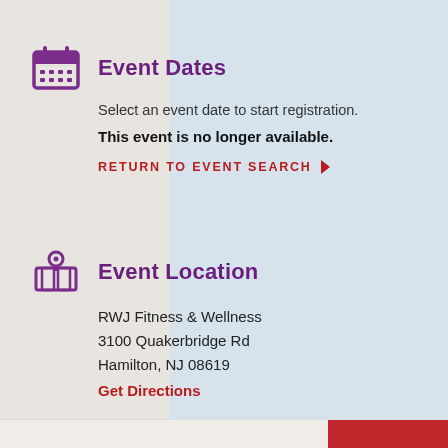Event Dates
Select an event date to start registration.
This event is no longer available.
RETURN TO EVENT SEARCH ›
Event Location
RWJ Fitness & Wellness
3100 Quakerbridge Rd
Hamilton, NJ 08619
Get Directions